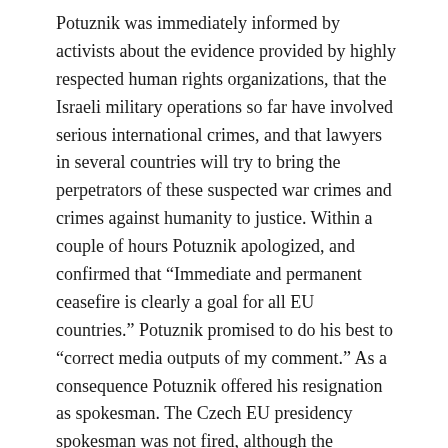Potuznik was immediately informed by activists about the evidence provided by highly respected human rights organizations, that the Israeli military operations so far have involved serious international crimes, and that lawyers in several countries will try to bring the perpetrators of these suspected war crimes and crimes against humanity to justice. Within a couple of hours Potuznik apologized, and confirmed that “Immediate and permanent ceasefire is clearly a goal for all EU countries.” Potuznik promised to do his best to “correct media outputs of my comment.” As a consequence Potuznik offered his resignation as spokesman. The Czech EU presidency spokesman was not fired, although the statement outraged the Arab world.
While Bush is showing his blind faith in Israel by blaming Hamas for the Israeli assault on Gaza, we want to send a clear signal to the EU: EU citizens don’t want this nonsense from the EU.